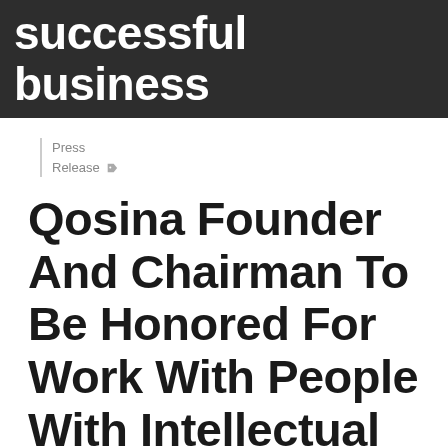successful business
Press Release
Qosina Founder And Chairman To Be Honored For Work With People With Intellectual And